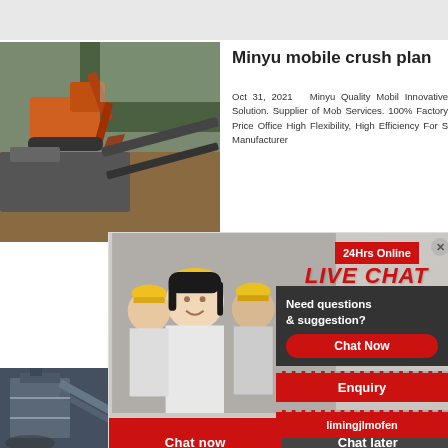[Figure (photo): Top gray banner/header area]
[Figure (photo): Mining excavator and mobile crushing plant machinery at a quarry site]
Minyu mobile crush plan
Oct 31, 2021  Minyu Quality Mobil Innovative Solution. Supplier of Mob Services. 100% Factory Price Office High Flexibility, High Efficiency For S Manufacturer
[Figure (photo): Live chat popup overlay with workers in hard hats and customer service representative, buttons for Chat now and Chat later]
[Figure (photo): Customer service woman with headset on right side panel]
24Hrs Online
LIVE CHAT
Click for a Free Consultation
Chat now
Chat later
Need questions & suggestion?
Chat Now
Enquiry
limingjlmofen
[Figure (photo): Industrial crushing and screening plant machinery, blue metal structure]
Crushing  ac
Royal Enginee am range of produ cre Minerals proce ary ore, Coal, Mine m